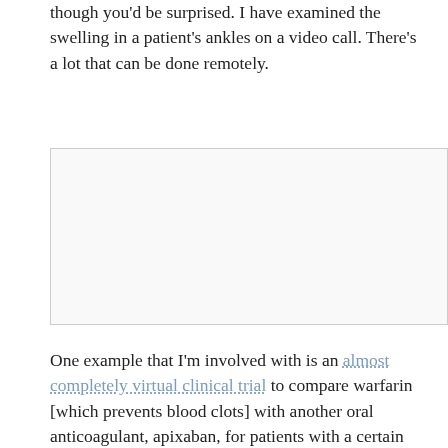though you'd be surprised. I have examined the swelling in a patient's ankles on a video call. There's a lot that can be done remotely.
[Figure (other): Blank image placeholder with light gray border]
One example that I'm involved with is an almost completely virtual clinical trial to compare warfarin [which prevents blood clots] with another oral anticoagulant, apixaban, for patients with a certain type of prosthetic aortic valve. People give their consent to participate over the phone. The study drug is shipped directly to the patient. As long as they are doing well, there is no reason for participants to come on-site. Everything is done over the phone. It's